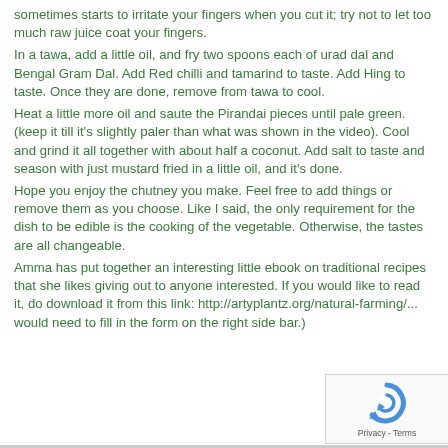sometimes starts to irritate your fingers when you cut it; try not to let too much raw juice coat your fingers. In a tawa, add a little oil, and fry two spoons each of urad dal and Bengal Gram Dal. Add Red chilli and tamarind to taste. Add Hing to taste. Once they are done, remove from tawa to cool. Heat a little more oil and saute the Pirandai pieces until pale green. (keep it till it's slightly paler than what was shown in the video). Cool and grind it all together with about half a coconut. Add salt to taste and season with just mustard fried in a little oil, and it's done. Hope you enjoy the chutney you make. Feel free to add things or remove them as you choose. Like I said, the only requirement for the dish to be edible is the cooking of the vegetable. Otherwise, the tastes are all changeable. Amma has put together an interesting little ebook on traditional recipes that she likes giving out to anyone interested. If you would like to read it, do download it from this link: http://artyplantz.org/natural-farming/... would need to fill in the form on the right side bar.)
[Figure (other): reCAPTCHA badge with circular arrow logo and 'Privacy - Terms' text]